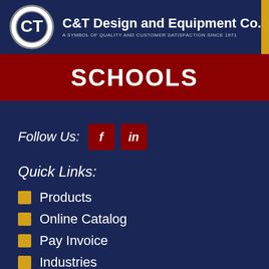C&T Design and Equipment Co. — A SYMBOL OF QUALITY AND CUSTOMER SATISFACTION SINCE 1971
SCHOOLS
Follow Us:
Quick Links:
Products
Online Catalog
Pay Invoice
Industries
Project Gallery
Contact
Privacy Policy